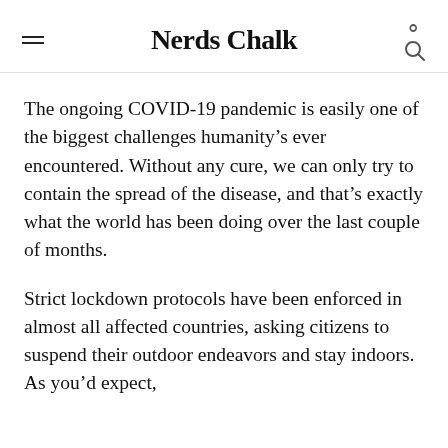Nerds Chalk
The ongoing COVID-19 pandemic is easily one of the biggest challenges humanity’s ever encountered. Without any cure, we can only try to contain the spread of the disease, and that’s exactly what the world has been doing over the last couple of months.
Strict lockdown protocols have been enforced in almost all affected countries, asking citizens to suspend their outdoor endeavors and stay indoors. As you’d expect,